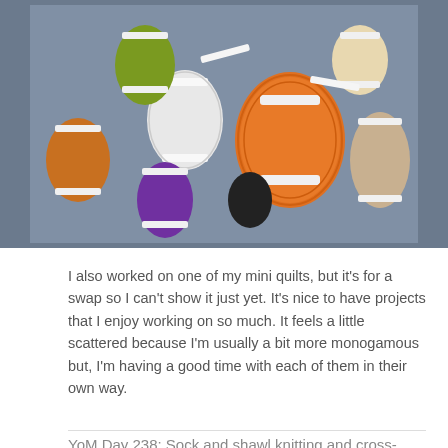[Figure (photo): Photo of colorful embroidery thread bobbins/spools arranged on a dark grey textured fabric background. Colors include orange, green, white, purple, beige, and black threads on white plastic winding cards.]
I also worked on one of my mini quilts, but it's for a swap so I can't show it just yet. It's nice to have projects that I enjoy working on so much. It feels a little scattered because I'm usually a bit more monogamous but, I'm having a good time with each of them in their own way.
YoM Day 238: Sock and shawl knitting and cross-stitching